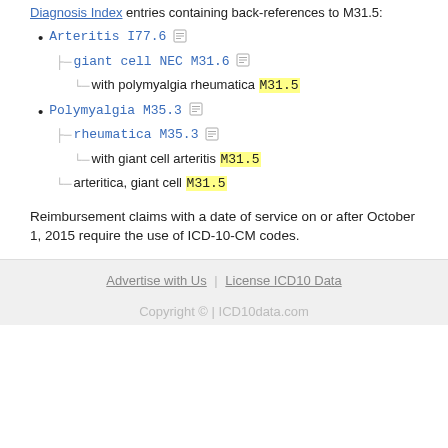Diagnosis Index entries containing back-references to M31.5:
Arteritis I77.6 [icon]
giant cell NEC M31.6 [icon]
with polymyalgia rheumatica M31.5
Polymyalgia M35.3 [icon]
rheumatica M35.3 [icon]
with giant cell arteritis M31.5
arteritica, giant cell M31.5
Reimbursement claims with a date of service on or after October 1, 2015 require the use of ICD-10-CM codes.
Advertise with Us | License ICD10 Data
Copyright © | ICD10data.com